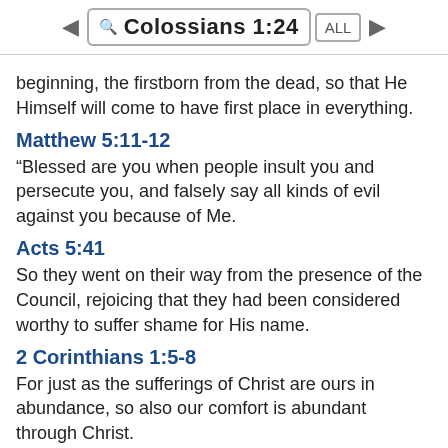Colossians 1:24 ALL
beginning, the firstborn from the dead, so that He Himself will come to have first place in everything.
Matthew 5:11-12
“Blessed are you when people insult you and persecute you, and falsely say all kinds of evil against you because of Me.
Acts 5:41
So they went on their way from the presence of the Council, rejoicing that they had been considered worthy to suffer shame for His name.
2 Corinthians 1:5-8
For just as the sufferings of Christ are ours in abundance, so also our comfort is abundant through Christ.
2 Corinthians 4:8-12
we are afflicted in every way, but not crushed;